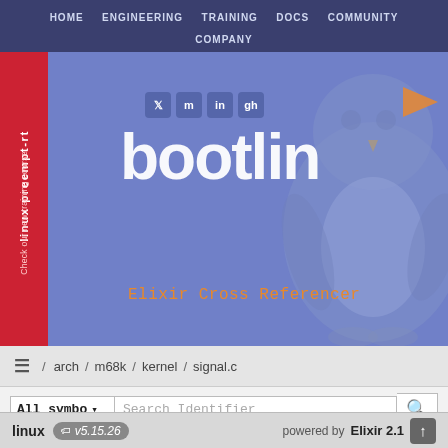HOME  ENGINEERING  TRAINING  DOCS  COMMUNITY  COMPANY
[Figure (screenshot): Bootlin website hero banner with logo, Elixir Cross Referencer tagline, social media icons, orange triangle, Tux penguin graphic, and red side banner reading 'linux preempt-rt Check our new training course']
/ arch / m68k / kernel / signal.c
All symbo ▾  Search Identifier
1   /*
2    *  linux/arch/m68k/kernel/signal.c
3    *
4    *  Copyright (C) 1991, 1992  Linus Torvald
5    *
6    *  This file is subject to the terms and co
7    *  License.  See the file COPYING in the ma
8    *  [truncated]
linux  v5.15.26  powered by Elixir 2.1